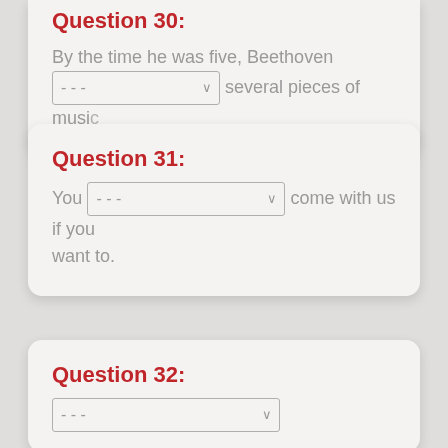Question 30:
By the time he was five, Beethoven [---] several pieces of music
Question 31:
You [---] come with us if you want to.
Question 32: